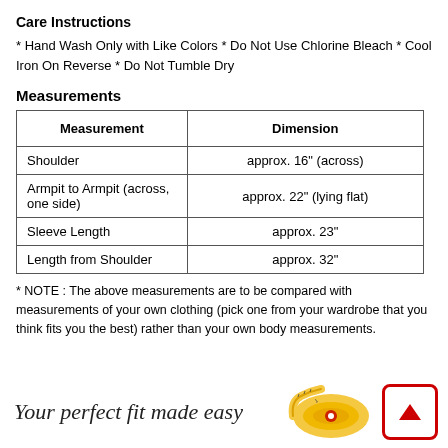Care Instructions
* Hand Wash Only with Like Colors * Do Not Use Chlorine Bleach * Cool Iron On Reverse * Do Not Tumble Dry
Measurements
| Measurement | Dimension |
| --- | --- |
| Shoulder | approx. 16" (across) |
| Armpit to Armpit (across, one side) | approx. 22" (lying flat) |
| Sleeve Length | approx. 23" |
| Length from Shoulder | approx. 32" |
* NOTE : The above measurements are to be compared with measurements of your own clothing (pick one from your wardrobe that you think fits you the best) rather than your own body measurements.
Your perfect fit made easy
[Figure (illustration): Yellow tape measure coiled up, and a red upward arrow button with rounded border]